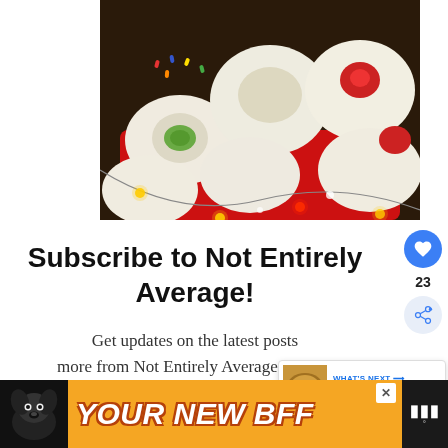[Figure (photo): Close-up photo of assorted Italian cookies/biscuits with colorful sprinkles, icing, and candied cherries on a red plate with fairy lights]
Subscribe to Not Entirely Average!
Get updates on the latest posts more from Not Entirely Average straight
[Figure (infographic): WHAT'S NEXT popup with thumbnail showing Sweet And Savory... article]
[Figure (infographic): Advertisement banner: YOUR NEW BFF with dog image and close button]